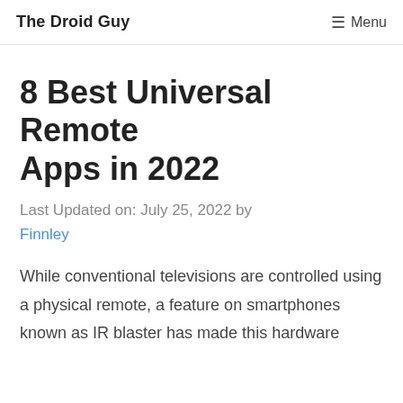The Droid Guy   ☰ Menu
8 Best Universal Remote Apps in 2022
Last Updated on: July 25, 2022 by Finnley
While conventional televisions are controlled using a physical remote, a feature on smartphones known as IR blaster has made this hardware